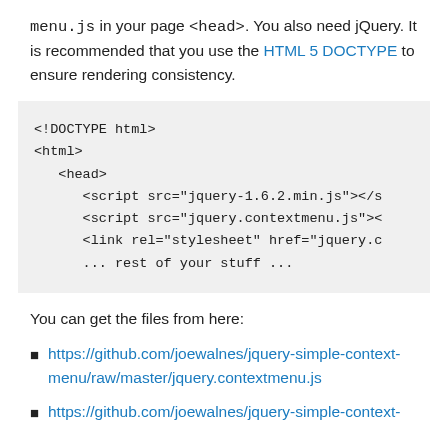menu.js in your page <head>. You also need jQuery. It is recommended that you use the HTML 5 DOCTYPE to ensure rendering consistency.
[Figure (screenshot): Code block showing HTML boilerplate with DOCTYPE, html, head tags and script/link includes for jquery-1.6.2.min.js, jquery.contextmenu.js, and a stylesheet link, followed by '... rest of your stuff ...']
You can get the files from here:
https://github.com/joewalnes/jquery-simple-context-menu/raw/master/jquery.contextmenu.js
https://github.com/joewalnes/jquery-simple-context-